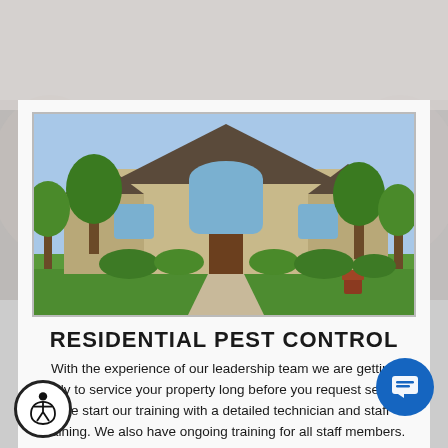[Figure (photo): Exterior of a large stone and brick residential house with a well-manicured lawn, trees, and a paved walkway on a sunny day.]
RESIDENTIAL PEST CONTROL
With the experience of our leadership team we are getting ready to service your property long before you request service. We start our training with a det[ailed] technician and staff training. We also have ongoing training for all staff members. We require all staff members hired by